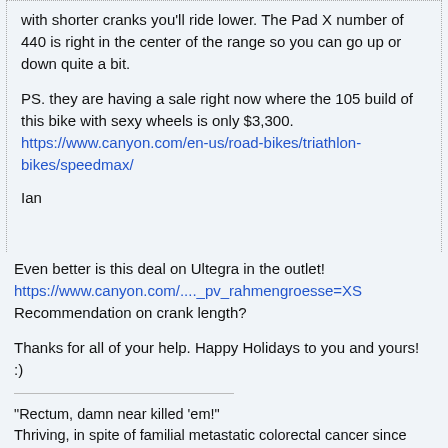with shorter cranks you'll ride lower. The Pad X number of 440 is right in the center of the range so you can go up or down quite a bit.
PS. they are having a sale right now where the 105 build of this bike with sexy wheels is only $3,300. https://www.canyon.com/en-us/road-bikes/triathlon-bikes/speedmax/
Ian
Even better is this deal on Ultegra in the outlet! https://www.canyon.com/...._pv_rahmengroesse=XS Recommendation on crank length?
Thanks for all of your help. Happy Holidays to you and yours! :)
"Rectum, damn near killed 'em!" Thriving, in spite of familial metastatic colorectal cancer since 2017 (diagnosed @ 44)